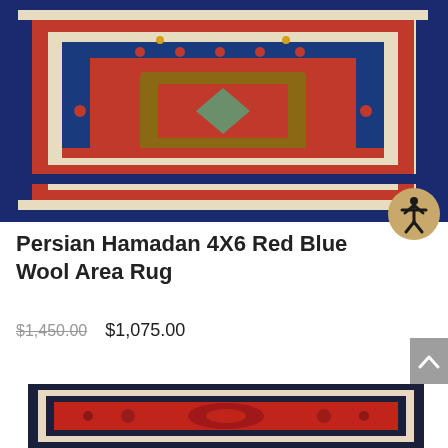[Figure (photo): Persian Hamadan 4X6 Red Blue Wool Area Rug product photo showing a traditional red and blue geometric patterned wool rug with medallion design and ornate border]
Persian Hamadan 4X6 Red Blue Wool Area Rug
$1,450.00 $1,075.00
[Figure (photo): Second Persian rug product photo partially visible at bottom — red background with floral/medallion pattern and dark navy border]